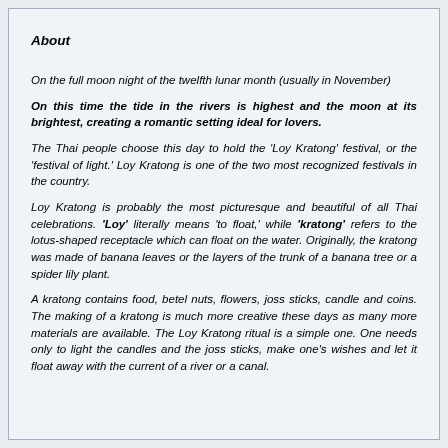About
On the full moon night of the twelfth lunar month (usually in November)
On this time the tide in the rivers is highest and the moon at its brightest, creating a romantic setting ideal for lovers.
The Thai people choose this day to hold the 'Loy Kratong' festival, or the 'festival of light.' Loy Kratong is one of the two most recognized festivals in the country.
Loy Kratong is probably the most picturesque and beautiful of all Thai celebrations. 'Loy' literally means 'to float,' while 'kratong' refers to the lotus-shaped receptacle which can float on the water. Originally, the kratong was made of banana leaves or the layers of the trunk of a banana tree or a spider lily plant.
A kratong contains food, betel nuts, flowers, joss sticks, candle and coins. The making of a kratong is much more creative these days as many more materials are available. The Loy Kratong ritual is a simple one. One needs only to light the candles and the joss sticks, make one's wishes and let it float away with the current of a river or a canal.